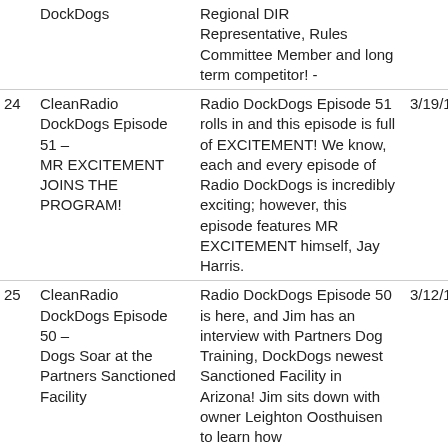| # | Title | Description | Date | Price | Link |
| --- | --- | --- | --- | --- | --- |
|  | DockDogs | Regional DIR Representative, Rules Committee Member and long term competitor! - |  |  |  |
| 24 | CleanRadio DockDogs Episode 51 – MR EXCITEMENT JOINS THE PROGRAM! | Radio DockDogs Episode 51 rolls in and this episode is full of EXCITEMENT! We know, each and every episode of Radio DockDogs is incredibly exciting; however, this episode features MR EXCITEMENT himself, Jay Harris. | 3/19/14 | Free | View In iTunes |
| 25 | CleanRadio DockDogs Episode 50 – Dogs Soar at the Partners Sanctioned Facility | Radio DockDogs Episode 50 is here, and Jim has an interview with Partners Dog Training, DockDogs newest Sanctioned Facility in Arizona! Jim sits down with owner Leighton Oosthuisen to learn how | 3/12/14 | Free | View In iTunes |